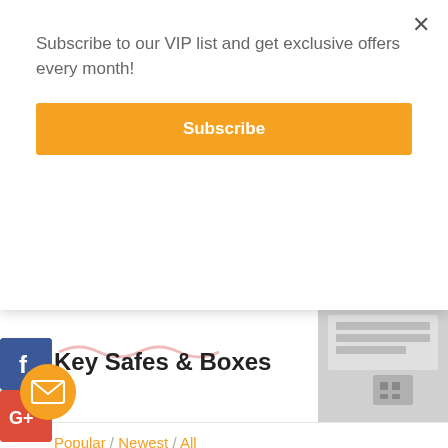Subscribe to our VIP list and get exclusive offers every month!
Subscribe
Key Safes & Boxes
Popular / Newest / All
[Figure (photo): Interior of a key safe/cabinet showing rows of key hooks and dot markings on the inside panels]
[Figure (photo): Close-up of a key safe lock mechanism, top right corner]
[Figure (logo): Red underline brand logo or graphic in header area]